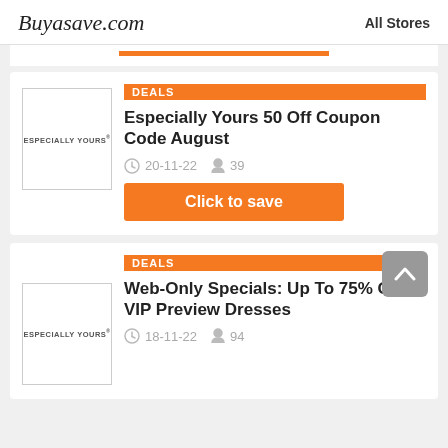Buyasave.com    All Stores
[Figure (logo): Especially Yours brand logo box]
DEALS
Especially Yours 50 Off Coupon Code August
20-11-22   39
Click to save
[Figure (logo): Especially Yours brand logo box]
DEALS
Web-Only Specials: Up To 75% Off VIP Preview Dresses
18-11-22   94